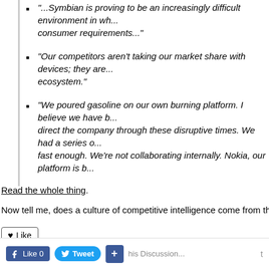"...Symbian is proving to be an increasingly difficult environment in wh... consumer requirements..."
"Our competitors aren't taking our market share with devices; they are... ecosystem."
"We poured gasoline on our own burning platform. I believe we have b... direct the company through these disruptive times. We had a series o... fast enough. We're not collaborating internally. Nokia, our platform is b..."
Read the whole thing.
Now tell me, does a culture of competitive intelligence come from the top, c...
[Figure (infographic): Social sharing buttons: Like button with heart icon, MySpace link, Facebook link, Tweet button, Facebook Like 0 button]
Views: 120
▶ Reply to This
Like 0  Tweet  +  [Discussion text]  t